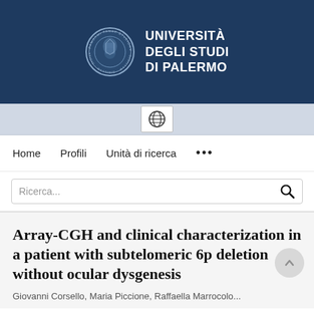[Figure (logo): Università degli Studi di Palermo logo with circular seal and university name in white text on dark blue background]
[Figure (other): Globe/language selector icon in a white box on a grey strip]
Home   Profili   Unità di ricerca   •••
Ricerca...
Array-CGH and clinical characterization in a patient with subtelomeric 6p deletion without ocular dysgenesis
Giovanni Corsello, Maria Piccione, Raffaella Marrocolo...